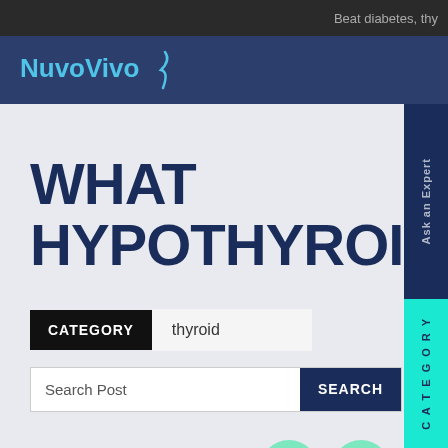Beat diabetes, thy
[Figure (logo): NuvoVivo logo with teal/blue text and lightning bolt icon on dark blue background]
WHAT HYPOTHYROIDISM?
CATEGORY  thyroid
Search Post  SEARCH